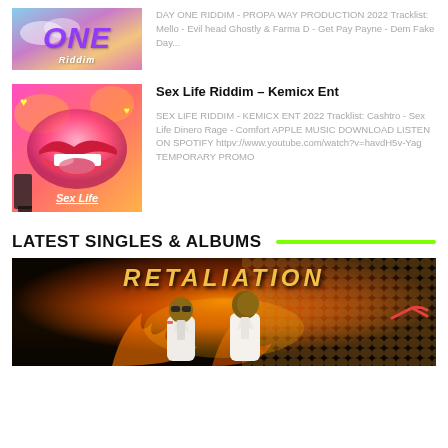[Figure (illustration): Day One Riddim album cover - purple/pink sky gradient with text ONE]
DAY ONE RIDDIM - PROPA WAY PRODUCTION 2022 Tracklist: Mello - Evil head Ghostly & Farma D - Get Pay Payne - Dem Fake Day...
[Figure (illustration): Sex Life Riddim album cover - pink background with stylized lips graphic]
Sex Life Riddim – Kemicx Ent
SEX LIFE RIDDIM - KEMICX ENT 2022 Tracklist: Cashtro - Sex Life Dinero Rage - Comfort APPLE MUSIC DOWNLOAD LISTEN ON SPOTIFY httpv://www.youtube.com/watch?v=havdH5v-Yag TEMPORARY PROMO
LATEST SINGLES & ALBUMS
[Figure (photo): Two men in white suits posing in front of a fiery dramatic background with snake/serpent imagery and stylized title text]